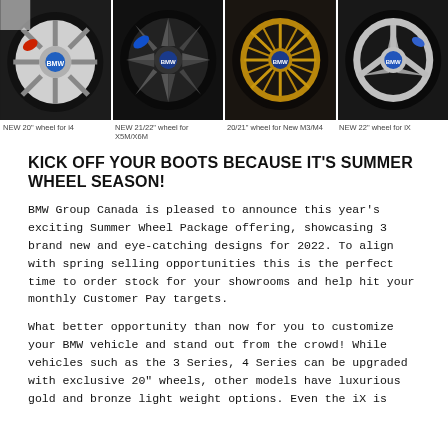[Figure (photo): Four BMW wheel images side by side: NEW 20" wheel for i4, NEW 21/22" wheel for X5M/X6M, 20/21" wheel for New M3/M4, NEW 22" wheel for iX]
NEW 20" wheel for i4 | NEW 21/22" wheel for X5M/X6M | 20/21" wheel for New M3/M4 | NEW 22" wheel for iX
KICK OFF YOUR BOOTS BECAUSE IT'S SUMMER WHEEL SEASON!
BMW Group Canada is pleased to announce this year's exciting Summer Wheel Package offering, showcasing 3 brand new and eye-catching designs for 2022. To align with spring selling opportunities this is the perfect time to order stock for your showrooms and help hit your monthly Customer Pay targets.
What better opportunity than now for you to customize your BMW vehicle and stand out from the crowd! While vehicles such as the 3 Series, 4 Series can be upgraded with exclusive 20" wheels, other models have luxurious gold and bronze light weight options. Even the iX is